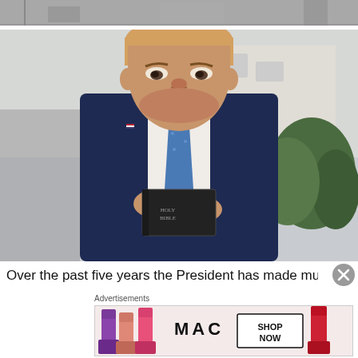[Figure (photo): Top strip of a partially visible photograph, appears to show figures in the background]
[Figure (photo): Photograph of a man in a dark navy suit holding a black Holy Bible, looking stern, outdoors with blurred background of white building and greenery]
Over the past five years the President has made multiple
Advertisements
[Figure (photo): MAC Cosmetics advertisement showing colorful lipsticks and a SHOP NOW button]